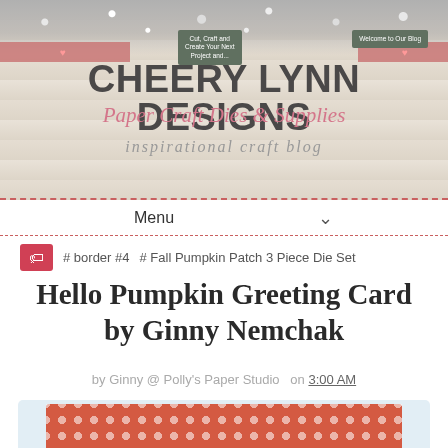[Figure (screenshot): Cheery Lynn Designs blog header banner with floral/wooden background, pink ribbon, tag badges, brand name, subtitle 'Paper Craft Dies & Supplies', and tagline 'inspirational craft blog']
Cut, Craft and Create Your Next ... | Welcome to Our Blog | CHEERY LYNN DESIGNS | Paper Craft Dies & Supplies | inspirational craft blog
Menu
# border #4
# Fall Pumpkin Patch 3 Piece Die Set
Hello Pumpkin Greeting Card by Ginny Nemchak
by Ginny @ Polly's Paper Studio  on 3:00 AM
[Figure (photo): Partial view of a red/coral polka dot greeting card on light blue background]